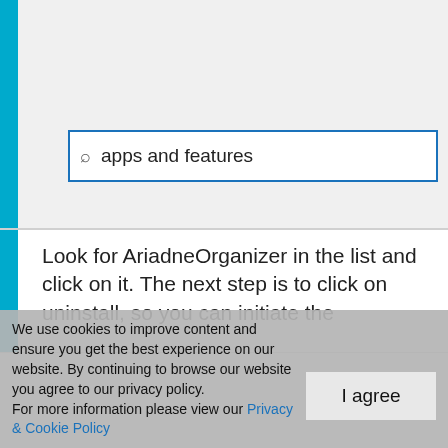[Figure (screenshot): Windows search bar showing 'apps and features' typed in the search field with a magnifying glass icon, on a grey background with a cyan/teal vertical bar on the left.]
Look for AriadneOrganizer in the list and click on it. The next step is to click on uninstall, so you can initiate the
We use cookies to improve content and ensure you get the best experience on our website. By continuing to browse our website you agree to our privacy policy.
For more information please view our Privacy & Cookie Policy